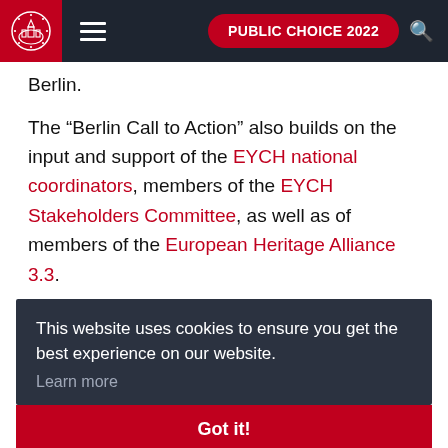PUBLIC CHOICE 2022
Berlin.
The “Berlin Call to Action” also builds on the input and support of the EYCH national coordinators, members of the EYCH Stakeholders Committee, as well as of members of the European Heritage Alliance 3.3.
This website uses cookies to ensure you get the best experience on our website.
Learn more
Got it!